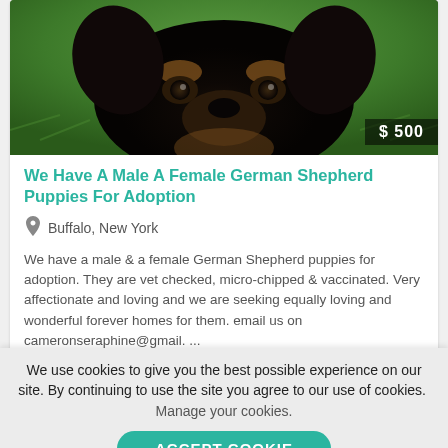[Figure (photo): Close-up photo of a black and tan German Shepherd puppy face against green grass background, with a price badge showing $500 in the bottom-right corner]
We Have A Male A Female German Shepherd Puppies For Adoption
Buffalo, New York
We have a male & a female German Shepherd puppies for adoption. They are vet checked, micro-chipped & vaccinated. Very affectionate and loving and we are seeking equally loving and wonderful forever homes for them. email us on cameronseraphine@gmail. ...
[Figure (photo): Blurry close-up photo of a black puppy, partially visible, against a mixed blue/green background]
We use cookies to give you the best possible experience on our site. By continuing to use the site you agree to our use of cookies.  Manage your cookies.
ACCEPT COOKIE